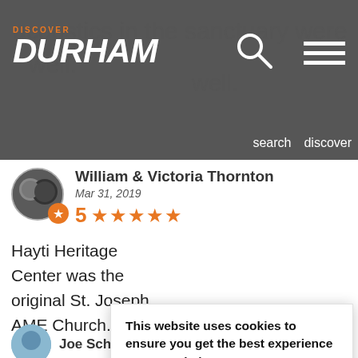Discover Durham - navigation header with search and discover menu
acoustics in the sanctuary were
as well.
William & Victoria Thornton
Mar 31, 2019
5 ★★★★★
Hayti Heritage Center was the original St. Joseph AME Church. Th
gla
acc
Du
the
atr
This website uses cookies to ensure you get the best experience on our website.
Learn more
Got it!
Joe Schuch